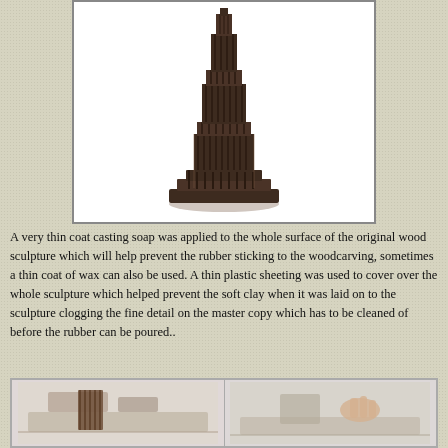[Figure (photo): A dark brown wooden sculpture resembling a stepped tower or skyscraper form with vertical ridges, sitting on a rectangular base, photographed against a white background inside a bordered frame.]
A very thin coat casting soap was applied to the whole surface of the original wood sculpture which will help prevent the rubber sticking to the woodcarving, sometimes a thin coat of wax can also be used. A thin plastic sheeting was used to cover over the whole sculpture which helped prevent the soft clay when it was laid on to the sculpture clogging the fine detail on the master copy which has to be cleaned of before the rubber can be poured..
[Figure (photo): Two side-by-side photographs at the bottom of the page showing stages of the mold-making process for the wood sculpture.]